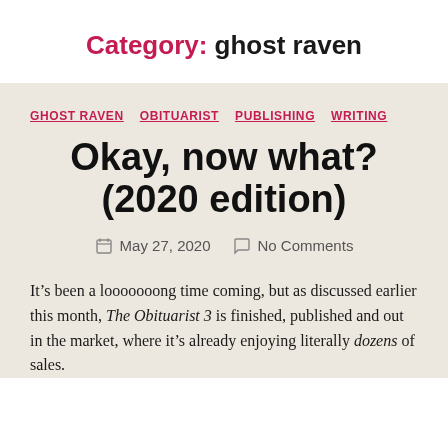Category: ghost raven
GHOST RAVEN   OBITUARIST   PUBLISHING   WRITING
Okay, now what? (2020 edition)
May 27, 2020   No Comments
It’s been a looooooong time coming, but as discussed earlier this month, The Obituarist 3 is finished, published and out in the market, where it’s already enjoying literally dozens of sales.